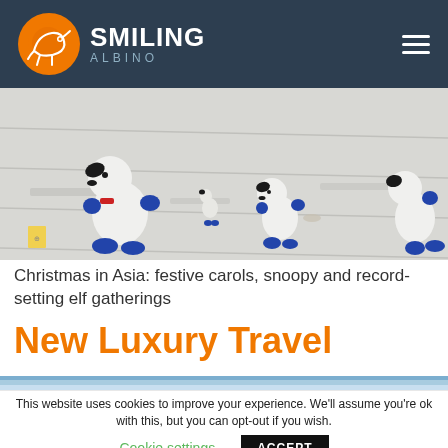[Figure (logo): Smiling Albino logo: orange circle with white chameleon icon, white bold text SMILING and grey italic text ALBINO, on dark navy navigation bar]
[Figure (photo): Overhead photo of Snoopy figurines/toys standing on a white surface, wearing blue and white astronaut-style suits]
Christmas in Asia: festive carols, snoopy and record-setting elf gatherings
New Luxury Travel
[Figure (photo): Partial blue sky strip image below New Luxury Travel heading]
This website uses cookies to improve your experience. We'll assume you're ok with this, but you can opt-out if you wish.
Cookie settings
ACCEPT